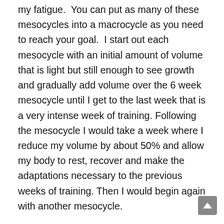my fatigue.  You can put as many of these mesocycles into a macrocycle as you need to reach your goal.  I start out each mesocycle with an initial amount of volume that is light but still enough to see growth and gradually add volume over the 6 week mesocycle until I get to the last week that is a very intense week of training. Following the mesocycle I would take a week where I reduce my volume by about 50% and allow my body to rest, recover and make the adaptations necessary to the previous weeks of training. Then I would begin again with another mesocycle.

We know from the scientific literature that in order to grow muscle we have to at least get close to failure on our lifts.  However, going to failure on every exercise